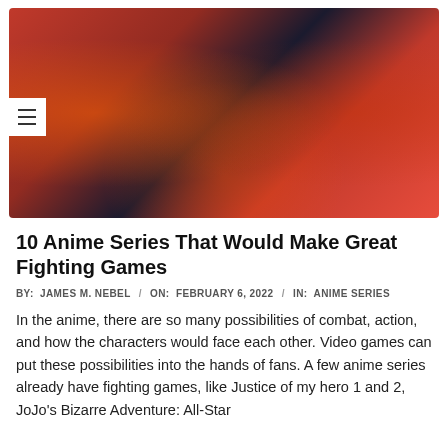[Figure (illustration): Anime artwork showing three characters against a fiery red/orange background. Left: red-haired character with blue cap and yellow outfit holding a skateboard. Center: white-haired character in black outfit making a hand gesture. Right: white-haired character in blue/purple outfit with teal eyes, waving.]
10 Anime Series That Would Make Great Fighting Games
BY: JAMES M. NEBEL / ON: FEBRUARY 6, 2022 / IN: ANIME SERIES
In the anime, there are so many possibilities of combat, action, and how the characters would face each other. Video games can put these possibilities into the hands of fans. A few anime series already have fighting games, like Justice of my hero 1 and 2, JoJo's Bizarre Adventure: All-Star